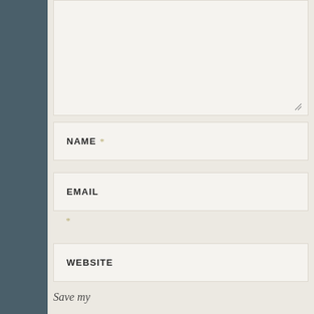[Figure (screenshot): Comment form textarea (empty, resizable) with a resize handle in the bottom-right corner]
NAME *
EMAIL *
WEBSITE
Save my